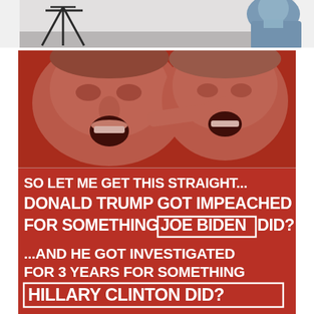[Figure (photo): Top portion of a photo showing a tripod/stand on the left and a person in a blue shirt on the right, partially cropped, with a light gray/white background.]
[Figure (infographic): Political meme with red background. Top half shows two red-tinted faces (resembling Joe Biden on left pointing, Hillary Clinton on right). Bottom half contains white bold text reading: 'SO LET ME GET THIS STRAIGHT... DONALD TRUMP GOT IMPEACHED FOR SOMETHING JOE BIDEN DID? ...AND HE GOT INVESTIGATED FOR 3 YEARS FOR SOMETHING HILLARY CLINTON DID?' with 'JOE BIDEN' and 'HILLARY CLINTON DID?' in white-bordered boxes.]